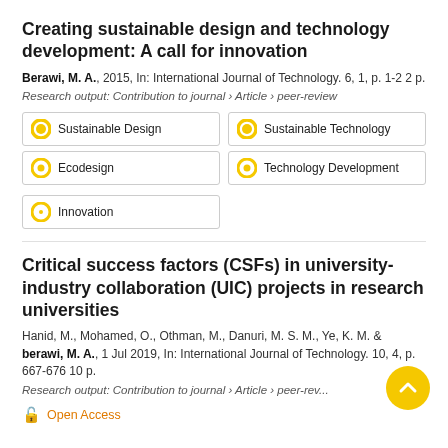Creating sustainable design and technology development: A call for innovation
Berawi, M. A., 2015, In: International Journal of Technology. 6, 1, p. 1-2 2 p.
Research output: Contribution to journal › Article › peer-review
Sustainable Design
Sustainable Technology
Ecodesign
Technology Development
Innovation
Critical success factors (CSFs) in university-industry collaboration (UIC) projects in research universities
Hanid, M., Mohamed, O., Othman, M., Danuri, M. S. M., Ye, K. M. & berawi, M. A., 1 Jul 2019, In: International Journal of Technology. 10, 4, p. 667-676 10 p.
Research output: Contribution to journal › Article › peer-rev...
Open Access